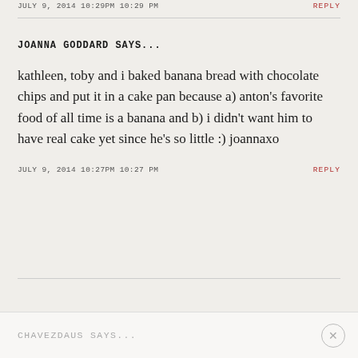JULY 9, 2014 10:29PM 10:29 PM   REPLY
JOANNA GODDARD SAYS...
kathleen, toby and i baked banana bread with chocolate chips and put it in a cake pan because a) anton's favorite food of all time is a banana and b) i didn't want him to have real cake yet since he's so little :) joannaxo
JULY 9, 2014 10:27PM 10:27 PM   REPLY
CHAVEZDAUS SAYS...